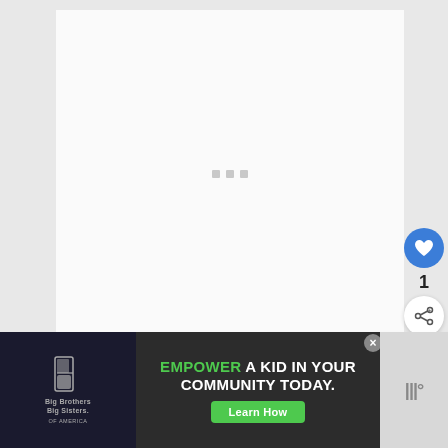[Figure (screenshot): White content area (document/article page) with three small grey loading indicator squares in the center]
[Figure (infographic): Blue circular like/heart button with count '1' and white share button on the right sidebar]
[Figure (infographic): What's Next card with thumbnail and text 'How Long After Use By...']
[Figure (infographic): Advertisement banner: Big Brothers Big Sisters logo on left, center ad reads 'EMPOWER A KID IN YOUR COMMUNITY TODAY.' with green 'Learn How' button, right side logo]